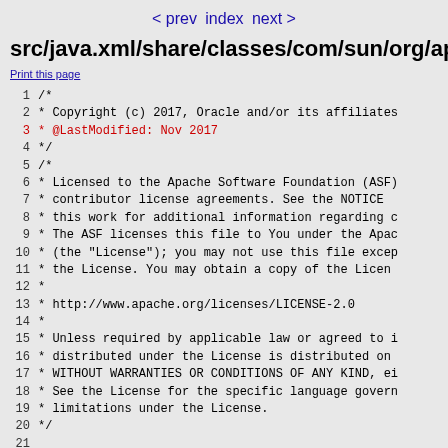< prev  index  next >
src/java.xml/share/classes/com/sun/org/apa
Print this page
1  /*
2  * Copyright (c) 2017, Oracle and/or its affiliates
3  * @LastModified: Nov 2017
4  */
5  /*
6  * Licensed to the Apache Software Foundation (ASF)
7  * contributor license agreements.  See the NOTICE
8  * this work for additional information regarding c
9  * The ASF licenses this file to You under the Apac
10 * (the "License"); you may not use this file excep
11 * the License.  You may obtain a copy of the Licen
12 *
13 *      http://www.apache.org/licenses/LICENSE-2.0
14 *
15 * Unless required by applicable law or agreed to i
16 * distributed under the License is distributed on
17 * WITHOUT WARRANTIES OR CONDITIONS OF ANY KIND, ei
18 * See the License for the specific language govern
19 * limitations under the License.
20 */
21
22 package com.sun.org.apache.xerces.internal.impl.xs